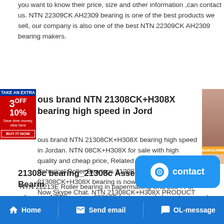you want to know their price, size and other information ,can contact us. NTN 22309CK AH2309 bearing is one of the best products we sell, our company is also one of the best NTN 22309CK AH2309 bearing makers.
ous brand NTN 21308CK+H308X bearing high speed in Jord
ous brand NTN 21308CK+H308X bearing high speed in Jordan. NTN 08CK+H308X for sale with high quality and cheap price, Related Products:Tag:NTN Spherical Roller Bearings 21308 . NTN 21308CK+H308X bearing is now available. Contact Now Skype Chat. NTN 21308CK+H308X PRODUCT SPECS.
21308c bearing_21308c Assembly in Trinidad_ntn Bearin
NTN 22213E Roller bearing in papermaking Una Luo . For reference, NTN bearings 22213E features and characters are shown as follows, Typ 21308C 22308C LH-22209C 21309C 22309C LH-22210C 21310C 22310C LH-22211
22318ca 22318cc/W33 22318ek 22318e 22318cde4 Sphe
China 22318ca 22318cc/W33 22318ek 22318e 22318cde4 Spherical Roller Bearing
Home   Send email   OL-message